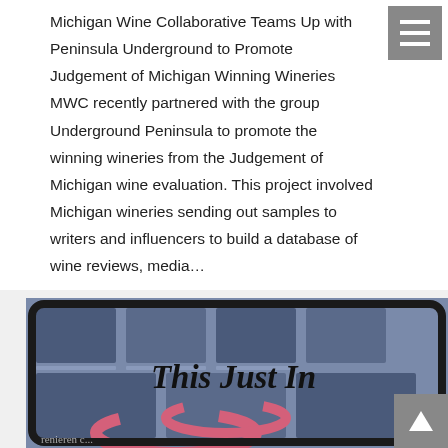Michigan Wine Collaborative Teams Up with Peninsula Underground to Promote Judgement of Michigan Winning Wineries MWC recently partnered with the group Underground Peninsula to promote the winning wineries from the Judgement of Michigan wine evaluation. This project involved Michigan wineries sending out samples to writers and influencers to build a database of wine reviews, media...
[Figure (photo): Photo of a tablet displaying 'This Just In' text overlay, placed on top of newspapers with a pink decorative swirl element visible in the foreground. Image has a cool blue-gray tinted color treatment.]